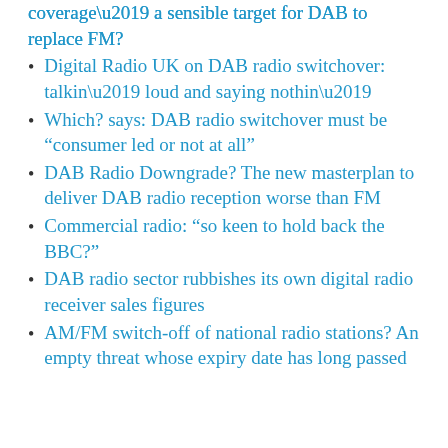coverage’ a sensible target for DAB to replace FM?
Digital Radio UK on DAB radio switchover: talkin’ loud and saying nothin’
Which? says: DAB radio switchover must be “consumer led or not at all”
DAB Radio Downgrade? The new masterplan to deliver DAB radio reception worse than FM
Commercial radio: “so keen to hold back the BBC?”
DAB radio sector rubbishes its own digital radio receiver sales figures
AM/FM switch-off of national radio stations? An empty threat whose expiry date has long passed